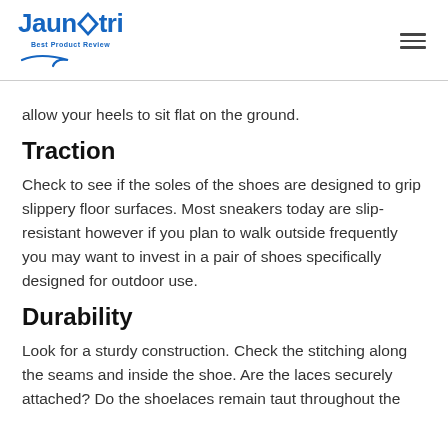Jaunatri — Best Product Review
allow your heels to sit flat on the ground.
Traction
Check to see if the soles of the shoes are designed to grip slippery floor surfaces. Most sneakers today are slip-resistant however if you plan to walk outside frequently you may want to invest in a pair of shoes specifically designed for outdoor use.
Durability
Look for a sturdy construction. Check the stitching along the seams and inside the shoe. Are the laces securely attached? Do the shoelaces remain taut throughout the